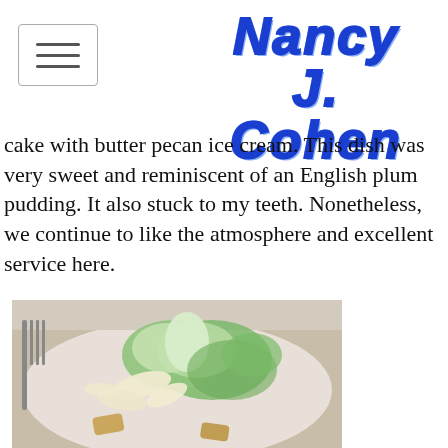NANCY J. COHEN
cake with butter pecan ice cream. This dish was very sweet and reminiscent of an English plum pudding. It also stuck to my teeth. Nonetheless, we continue to like the atmosphere and excellent service here.
[Figure (photo): A Caesar salad served on a white plate, with romaine lettuce leaves, shaved parmesan cheese, and croutons, with a fork visible on the left side.]